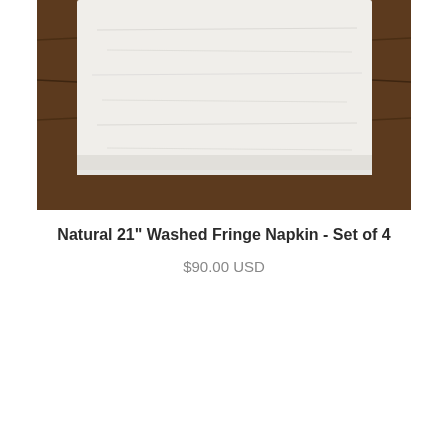[Figure (photo): A white linen napkin with fringe edges draped over a dark rustic wood surface. The wood has a dark brown, weathered appearance with visible grain texture. The white fabric is folded and resting on top, showing a soft, natural texture.]
Natural 21" Washed Fringe Napkin - Set of 4
$90.00 USD